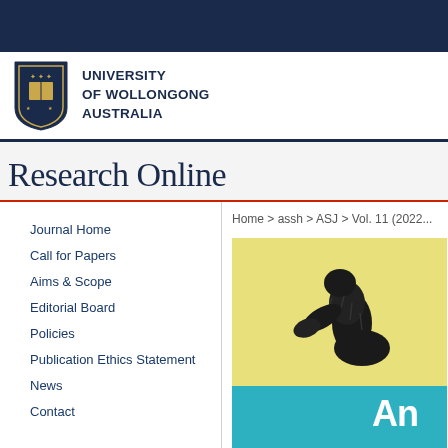[Figure (logo): University of Wollongong Australia logo with shield crest and text]
Research Online
Journal Home
Call for Papers
Aims & Scope
Editorial Board
Policies
Publication Ethics Statement
News
Contact
Submit Article
Home > assh > ASJ > Vol. 11 (2022...
[Figure (photo): Journal cover showing a dark animal sculpture on yellow background with teal bottom band and text 'An...']